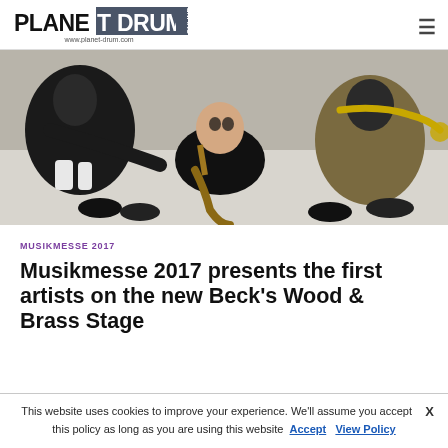PLANET DRUM ONLINE — www.planet-drum.com
[Figure (photo): Musicians lying on the floor holding brass instruments including saxophones and trumpets, wearing traditional Bavarian-style clothing]
MUSIKMESSE 2017
Musikmesse 2017 presents the first artists on the new Beck's Wood & Brass Stage
This website uses cookies to improve your experience. We'll assume you accept this policy as long as you are using this website  Accept  View Policy